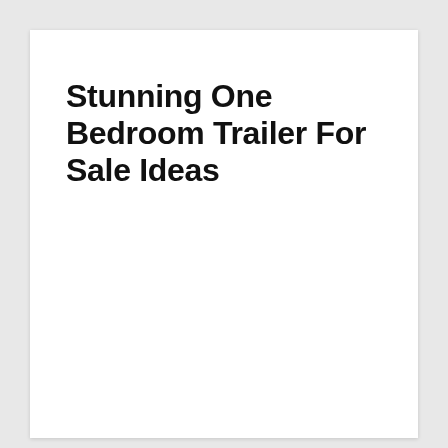Stunning One Bedroom Trailer For Sale Ideas